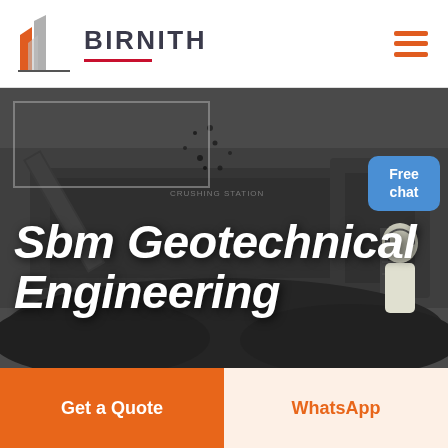[Figure (logo): Birnith company logo — orange/red building icon with two vertical shapes forming stylized tower, red underline beneath the brand name]
BIRNITH
[Figure (photo): Industrial crushing station with heavy machinery, conveyor belts, and scattered coal/rock material on the ground. Dark grayscale industrial scene.]
Sbm Geotechnical Engineering
[Figure (photo): Customer service representative in white shirt with headset, standing next to a blue 'Free chat' button overlay]
Get a Quote
WhatsApp